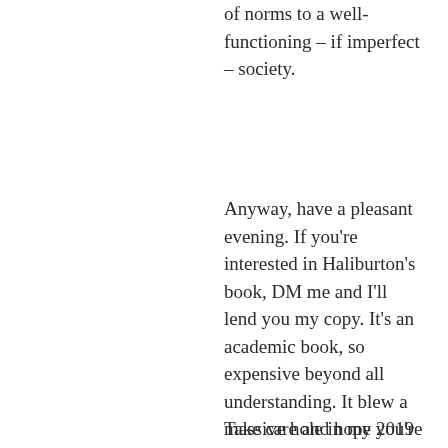of norms to a well-functioning – if imperfect – society.
Anyway, have a pleasant evening. If you're interested in Haliburton's book, DM me and I'll lend you my copy. It's an academic book, so expensive beyond all understanding. It blew a massive hole in my 2019 book budget, but worth it.
Take care and hope you're